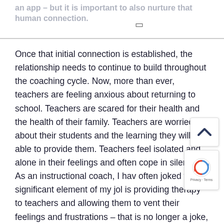an app – but it is important to also nurture that human connection.
Once that initial connection is established, the relationship needs to continue to build throughout the coaching cycle. Now, more than ever, teachers are feeling anxious about returning to school. Teachers are scared for their health and the health of their family. Teachers are worried about their students and the learning they will be able to provide them. Teachers feel isolated and alone in their feelings and often cope in silence. As an instructional coach, I hav often joked that a significant element of my jol is providing therapy to teachers and allowing them to vent their feelings and frustrations – that is no longer a joke, it has become a job requirement.